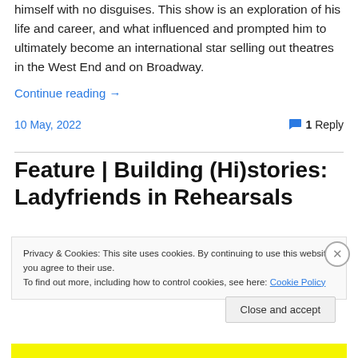himself with no disguises. This show is an exploration of his life and career, and what influenced and prompted him to ultimately become an international star selling out theatres in the West End and on Broadway.
Continue reading →
10 May, 2022    💬 1 Reply
Feature | Building (Hi)stories: Ladyfriends in Rehearsals
Privacy & Cookies: This site uses cookies. By continuing to use this website, you agree to their use.
To find out more, including how to control cookies, see here: Cookie Policy
Close and accept